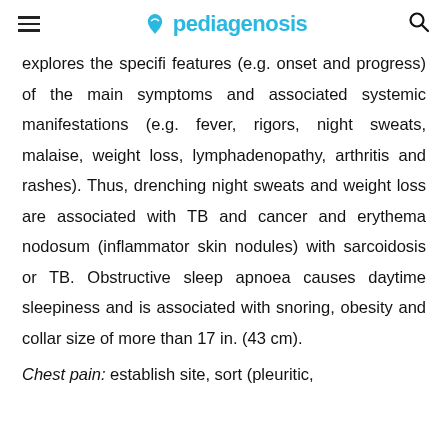pediagenosis
explores the specifi features (e.g. onset and progress) of the main symptoms and associated systemic manifestations (e.g. fever, rigors, night sweats, malaise, weight loss, lymphadenopathy, arthritis and rashes). Thus, drenching night sweats and weight loss are associated with TB and cancer and erythema nodosum (inflammator skin nodules) with sarcoidosis or TB. Obstructive sleep apnoea causes daytime sleepiness and is associated with snoring, obesity and collar size of more than 17 in. (43 cm).
Chest pain: establish site, sort (pleuritic,